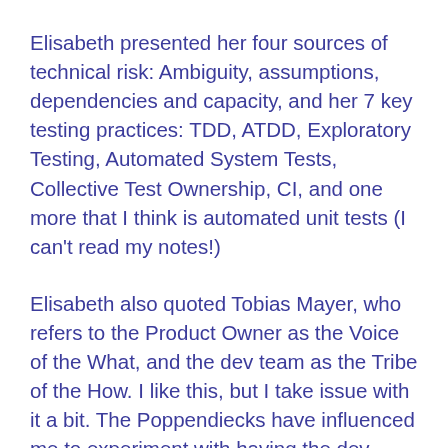Elisabeth presented her four sources of technical risk: Ambiguity, assumptions, dependencies and capacity, and her 7 key testing practices: TDD, ATDD, Exploratory Testing, Automated System Tests, Collective Test Ownership, CI, and one more that I think is automated unit tests (I can't read my notes!)
Elisabeth also quoted Tobias Mayer, who refers to the Product Owner as the Voice of the What, and the dev team as the Tribe of the How. I like this, but I take issue with it a bit. The Poppendiecks have influenced me to experiment with having the dev team learn the business inside out, so the dev team itself can help the business prioritize and even think of features. This worked well for my team at ePlan, and I have to agree that funneling all the business